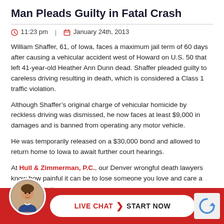Man Pleads Guilty in Fatal Crash
11:23 pm  |  January 24th, 2013
William Shaffer, 61, of Iowa, faces a maximum jail term of 60 days after causing a vehicular accident west of Howard on U.S. 50 that left 41-year-old Heather Ann Dunn dead. Shaffer pleaded guilty to careless driving resulting in death, which is considered a Class 1 traffic violation.
Although Shaffer’s original charge of vehicular homicide by reckless driving was dismissed, he now faces at least $9,000 in damages and is banned from operating any motor vehicle.
He was temporarily released on a $30,000 bond and allowed to return home to Iowa to await further court hearings.
At Hull & Zimmerman, P.C., our Denver wrongful death lawyers know how painful it can be to lose someone you love and care about, especially in the...